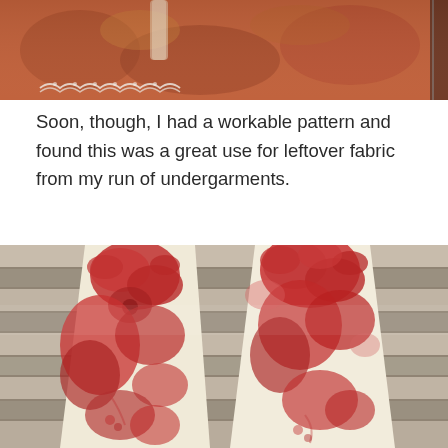[Figure (photo): Top portion of a terra-cotta/rust colored knit undergarment with lace trim, shown on a white background.]
Soon, though, I had a workable pattern and found this was a great use for leftover fabric from my run of undergarments.
[Figure (photo): Two fabric pieces with red floral pattern on cream/white background laid on a wooden slatted surface, resembling socks or leg warmers made from leftover undergarment fabric.]